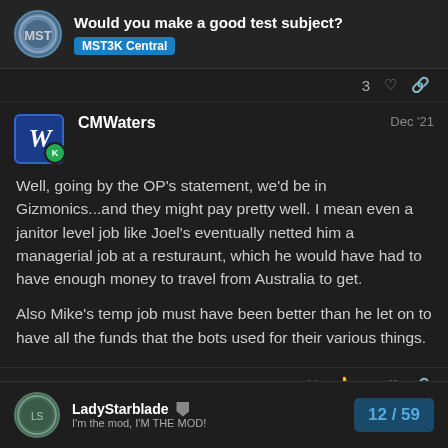Would you make a good test subject? | MST3K Central
3 (reactions)
CMWaters — Dec '21
Well, going by the OP's statement, we'd be in Gizmonics...and they might pay pretty well. I mean even a janitor level job like Joel's eventually netted him a managerial job at a resturaunt, which he would have had to have enough money to travel from Australia to get.

Also Mike's temp job must have been better than he let on to have all the funds that the bots used for their various things.
❤ 👍 4 (reactions)
LadyStarblade — I'm the mod, I'M THE MOD! — 12 / 59